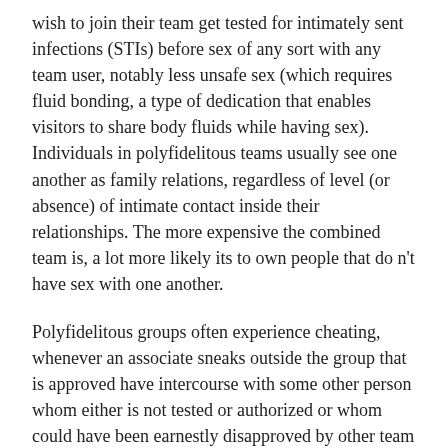wish to join their team get tested for intimately sent infections (STIs) before sex of any sort with any team user, notably less unsafe sex (which requires fluid bonding, a type of dedication that enables visitors to share body fluids while having sex). Individuals in polyfidelitous teams usually see one another as family relations, regardless of level (or absence) of intimate contact inside their relationships. The more expensive the combined team is, a lot more likely its to own people that do n't have sex with one another.
Polyfidelitous groups often experience cheating, whenever an associate sneaks outside the group that is approved have intercourse with some other person whom either is not tested or authorized or whom could have been earnestly disapproved by other team users. Many polyamorists speak about avoiding making guidelines exactly how individuals should experience one another, some polyfideles express a good preference that all team members share equal emotions of love or love for every single other person in the team. Such